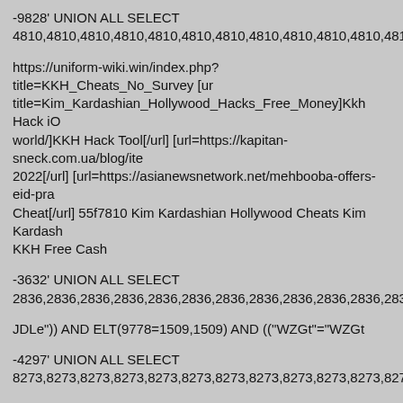-9828' UNION ALL SELECT 4810,4810,4810,4810,4810,4810,4810,4810,4810,4810,4810,4810,
https://uniform-wiki.win/index.php?title=KKH_Cheats_No_Survey [url=... title=Kim_Kardashian_Hollywood_Hacks_Free_Money]Kkh Hack iO... world/]KKH Hack Tool[/url] [url=https://kapitan-sneck.com.ua/blog/ite... 2022[/url] [url=https://asianewsnetwork.net/mehbooba-offers-eid-pra... Cheat[/url] 55f7810 Kim Kardashian Hollywood Cheats Kim Kardash... KKH Free Cash
-3632' UNION ALL SELECT 2836,2836,2836,2836,2836,2836,2836,2836,2836,2836,2836,2836,
JDLe")) AND ELT(9778=1509,1509) AND (("WZGt"="WZGt
-4297' UNION ALL SELECT 8273,8273,8273,8273,8273,8273,8273,8273,8273,8273,8273,8273,
JDLe")) AND ELT(9024=9024,4634) AND (("KaWY"="KaWY
-5066' UNION ALL SELECT 6787,6787,6787,6787,6787,6787,6787,6787,6787,6787,6787,6787,
-6323' UNION ALL SELECT 7217,7217,7217,7217,7217,7217,7217,7217,7217,7217,7217,7217,